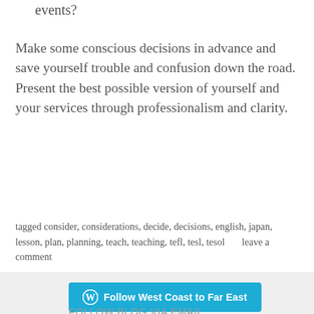events?
Make some conscious decisions in advance and save yourself trouble and confusion down the road. Present the best possible version of yourself and your services through professionalism and clarity.
tagged consider, considerations, decide, decisions, english, japan, lesson, plan, planning, teach, teaching, tefl, tesl, tesol      leave a comment
[Figure (other): Follow West Coast to Far East button — a teal/blue rounded rectangle button with WordPress logo icon and bold white text]
FOLLOW BLOG VIA EMAIL